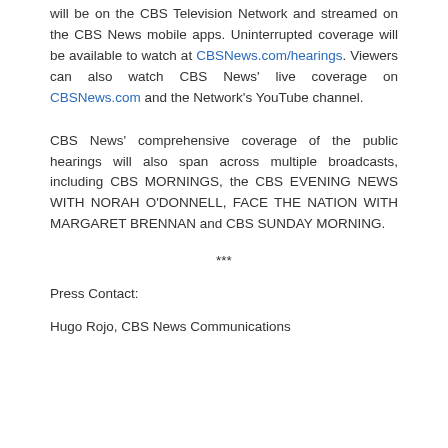will be on the CBS Television Network and streamed on the CBS News mobile apps. Uninterrupted coverage will be available to watch at CBSNews.com/hearings. Viewers can also watch CBS News' live coverage on CBSNews.com and the Network's YouTube channel.
CBS News' comprehensive coverage of the public hearings will also span across multiple broadcasts, including CBS MORNINGS, the CBS EVENING NEWS WITH NORAH O'DONNELL, FACE THE NATION WITH MARGARET BRENNAN and CBS SUNDAY MORNING.
***
Press Contact:
Hugo Rojo, CBS News Communications